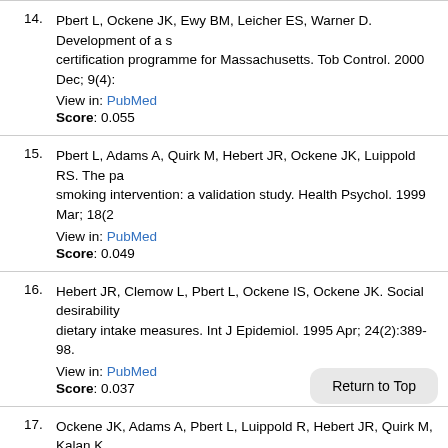14. Pbert L, Ockene JK, Ewy BM, Leicher ES, Warner D. Development of a s... certification programme for Massachusetts. Tob Control. 2000 Dec; 9(4):... View in: PubMed Score: 0.055
15. Pbert L, Adams A, Quirk M, Hebert JR, Ockene JK, Luippold RS. The pa... smoking intervention: a validation study. Health Psychol. 1999 Mar; 18(2... View in: PubMed Score: 0.049
16. Hebert JR, Clemow L, Pbert L, Ockene IS, Ockene JK. Social desirability... dietary intake measures. Int J Epidemiol. 1995 Apr; 24(2):389-98. View in: PubMed Score: 0.037
17. Ockene JK, Adams A, Pbert L, Luippold R, Hebert JR, Quirk M, Kalan K.... factors that determine how much the physician intervenes with smokers.... View in: PubMed Score: 0.036
18. Ockene JK, Kristeller J, Pbert L, Hebert JR, Luippold R, Goldberg RJ, La... intervention project: can short term interventions produce long term effe...